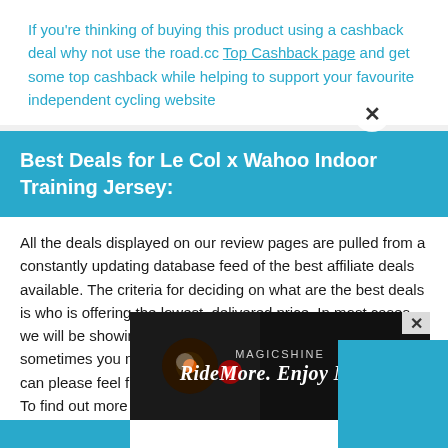If you're thinking of buying this product using a cashback deal why not use the road.cc Top Cashback page and get some top cashback while helping to support your favourite independent cycling website
Best Deals for Le Col x Wahoo Indoor Training Jersey:
All the deals displayed on our review pages are pulled from a constantly updating database feed of the best affiliate deals available. The criteria for deciding on what are the best deals is who is offering the lowest, delivered price. In most cases we will be showing the very best deal available online, but sometimes you may be able to find an item cheaper. If you can please feel free to post a link in the comments box below. To find out more about affiliate links o...
[Figure (photo): Advertisement banner for Magicshine: 'RideMore. Enjoy More' with a dark background showing a bicycle light on a bike]